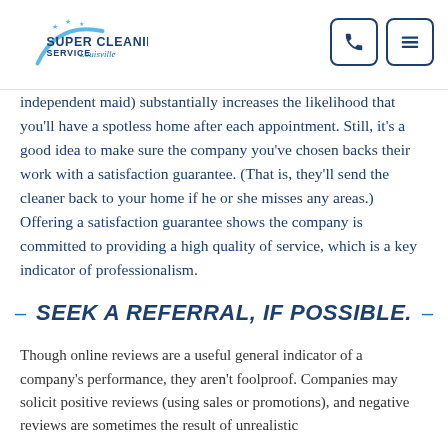Super Cleaning Service Louisville
independent maid) substantially increases the likelihood that you'll have a spotless home after each appointment. Still, it's a good idea to make sure the company you've chosen backs their work with a satisfaction guarantee. (That is, they'll send the cleaner back to your home if he or she misses any areas.) Offering a satisfaction guarantee shows the company is committed to providing a high quality of service, which is a key indicator of professionalism.
SEEK A REFERRAL, IF POSSIBLE.
Though online reviews are a useful general indicator of a company's performance, they aren't foolproof. Companies may solicit positive reviews (using sales or promotions), and negative reviews are sometimes the result of unrealistic